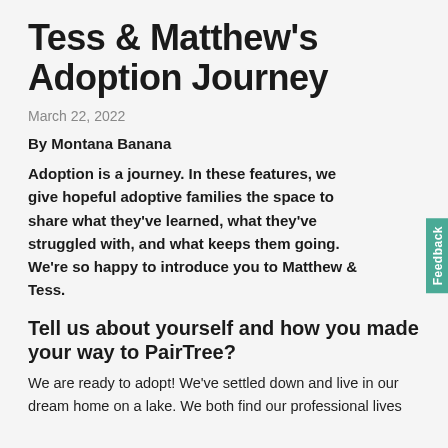Tess & Matthew's Adoption Journey
March 22, 2022
By Montana Banana
Adoption is a journey. In these features, we give hopeful adoptive families the space to share what they've learned, what they've struggled with, and what keeps them going. We're so happy to introduce you to Matthew & Tess.
Tell us about yourself and how you made your way to PairTree?
We are ready to adopt! We've settled down and live in our dream home on a lake. We both find our professional lives